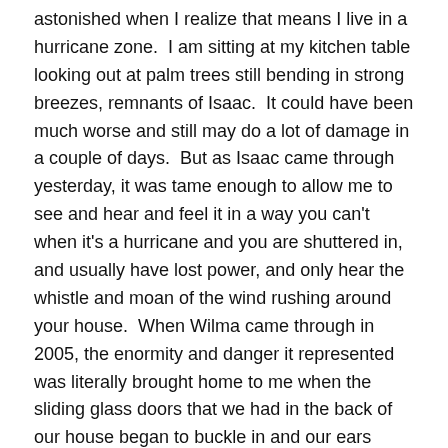astonished when I realize that means I live in a hurricane zone.  I am sitting at my kitchen table looking out at palm trees still bending in strong breezes, remnants of Isaac.  It could have been much worse and still may do a lot of damage in a couple of days.  But as Isaac came through yesterday, it was tame enough to allow me to see and hear and feel it in a way you can't when it's a hurricane and you are shuttered in, and usually have lost power, and only hear the whistle and moan of the wind rushing around your house.  When Wilma came through in 2005, the enormity and danger it represented was literally brought home to me when the sliding glass doors that we had in the back of our house began to buckle in and our ears popped.  A bit more and we'd have had to be running for our lives.
So here are a few images of Isaac: